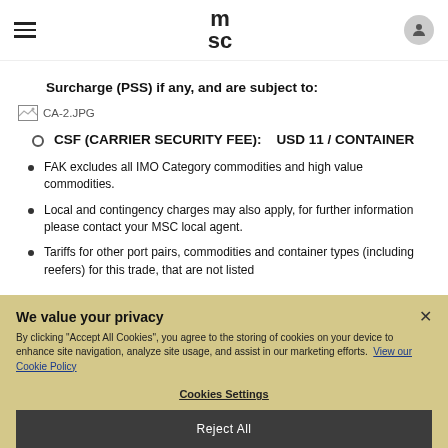MSC navigation header
Surcharge (PSS) if any, and are subject to:
[Figure (other): Image placeholder labeled CA-2.JPG]
CSF (CARRIER SECURITY FEE):    USD 11 / CONTAINER
FAK excludes all IMO Category commodities and high value commodities.
Local and contingency charges may also apply, for further information please contact your MSC local agent.
Tariffs for other port pairs, commodities and container types (including reefers) for this trade, that are not listed